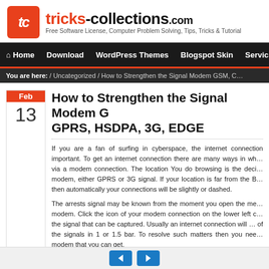tricks-collections.com — Free Software License, Computer Problem Solving, Tips, Tricks & Tutorial
Home | Download | WordPress Themes | Blogspot Skin | Service
You are here: / Uncategorized / How to Strengthen the Signal Modem GSM, C…
How to Strengthen the Signal Modem G… GPRS, HSDPA, 3G, EDGE
If you are a fan of surfing in cyberspace, the internet connection important. To get an internet connection there are many ways in wh… via a modem connection. The location You do browsing is the deci… modem, either GPRS or 3G signal. If your location is far from the B… then automatically your connections will be slightly or dashed.
The arrests signal may be known from the moment you open the me… modem. Click the icon of your modem connection on the lower left c… the signal that can be captured. Usually an internet connection will … of the signals in 1 or 1.5 bar. To resolve such matters then you nee… modem that you can get.